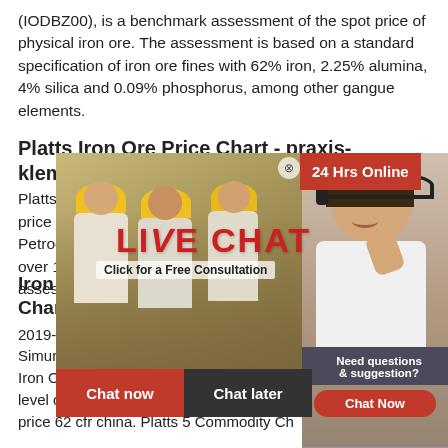(IODBZ00), is a benchmark assessment of the spot price of physical iron ore. The assessment is based on a standard specification of iron ore fines with 62% iron, 2.25% alumina, 4% silica and 0.09% phosphorus, among other gangue elements.
Platts Iron Ore Price Chart - praxis-klement.de
Platts Iron O... nd forward price assess... Petrochemic... over 12000 p... assessments...
[Figure (other): Live Chat advertisement overlay showing construction workers in yellow hard hats on the left side, a customer service representative with headset on the right, with LIVE CHAT headline in red, subtitle 'Click for a Free Consultation', Chat now (red) and Chat later (dark) buttons, and a '24 Hrs Online' badge. Also shows 'Need questions & suggestion? Chat Now' panel.]
Iron Ore PRICE Today Iron Ore Spot Price Chart Live
2019-12-20 · iron ore platts price today b... Simurgh. The last change in the iron ore... Iron Ore 62 Fe is 08 for April 13 2019 Wh... level of 958 per tonne for a change This p... price 62 cfr china. Platts 5 Commodity Ch...